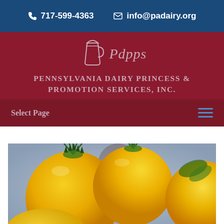📞 717-599-4363   ✉ info@padairy.org
PENNSYLVANIA DAIRY PRINCESS & PROMOTION SERVICES, INC.
[Figure (logo): PDPPS logo: a pitcher/jug icon with text 'Pdpps' in script]
Select Page
[Figure (photo): Close-up photo of yellow/golden tomatoes with green stems on a blurred background]